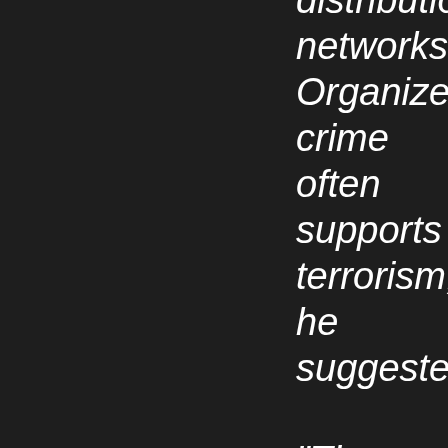distribution networks. Organized crime often supports terrorism, he suggested.

"These groups will not hesitate to threaten or injure those who tend to interfere